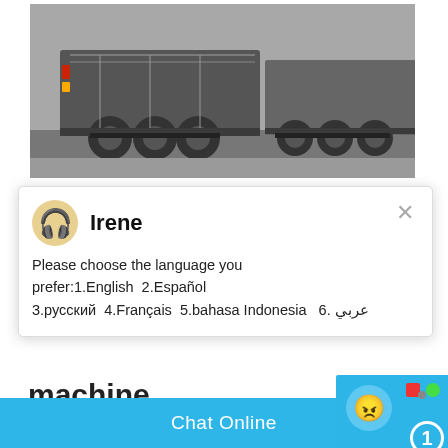[Figure (photo): Photo of heavy-duty truck trailers/flatbeds parked on pavement, viewed from rear/side angle showing wheels and chassis]
[Figure (screenshot): Live chat popup widget with avatar of 'Irene' showing language selection message in multiple languages including English, Español, русский, Français, bahasa Indonesia, عربي]
machine
YKN Vibrating Screen. Depend on decades experience in mining industry and latest t... CHINA Machine designed the YKN serie... screen, which has high-strength exciting ... series vibrating screen adopts the accen...
1
Click me to chat >>
Enquiry
cywaitml@gmail.com
Chat Online